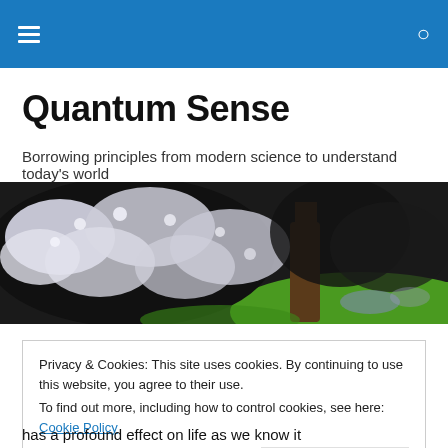≡  🔍
Quantum Sense
Borrowing principles from modern science to understand today's world
[Figure (photo): A flowering tree with white blossoms against a green grassy background, panoramic landscape photo used as website hero image]
Privacy & Cookies: This site uses cookies. By continuing to use this website, you agree to their use.
To find out more, including how to control cookies, see here: Cookie Policy
[Close and accept button]
has a profound effect on life as we know it